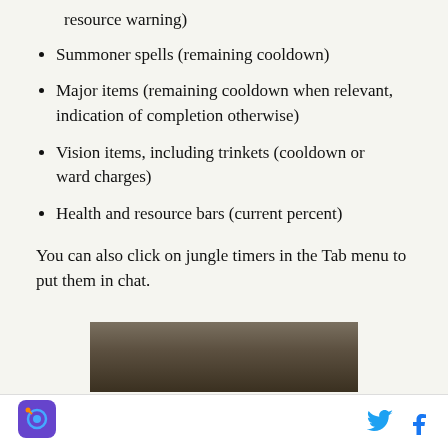resource warning)
Summoner spells (remaining cooldown)
Major items (remaining cooldown when relevant, indication of completion otherwise)
Vision items, including trinkets (cooldown or ward charges)
Health and resource bars (current percent)
You can also click on jungle timers in the Tab menu to put them in chat.
[Figure (screenshot): Partial screenshot of a game interface showing jungle timers]
Social share icons: Twitter and Facebook, along with a logo icon